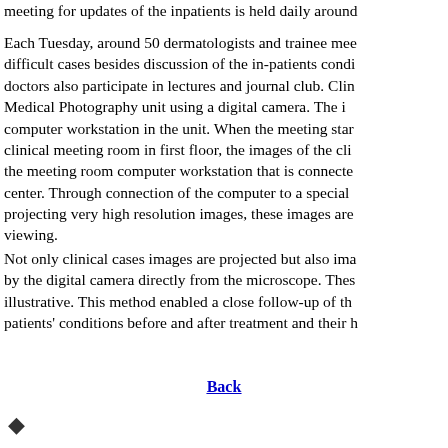meeting for updates of the inpatients is held daily around
Each Tuesday, around 50 dermatologists and trainee mee difficult cases besides discussion of the in-patients condi doctors also participate in lectures and journal club. Clin Medical Photography unit using a digital camera. The i computer workstation in the unit. When the meeting star clinical meeting room in first floor, the images of the cli the meeting room computer workstation that is connecte center. Through connection of the computer to a special projecting very high resolution images, these images are viewing.
Not only clinical cases images are projected but also ima by the digital camera directly from the microscope. Thes illustrative. This method enabled a close follow-up of th patients' conditions before and after treatment and their h
Back
◆